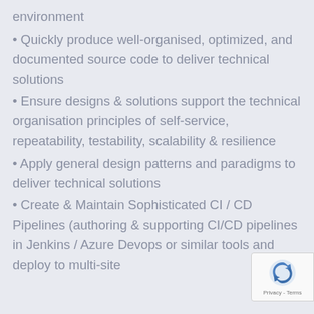environment
Quickly produce well-organised, optimized, and documented source code to deliver technical solutions
Ensure designs & solutions support the technical organisation principles of self-service, repeatability, testability, scalability & resilience
Apply general design patterns and paradigms to deliver technical solutions
Create & Maintain Sophisticated CI / CD Pipelines (authoring & supporting CI/CD pipelines in Jenkins / Azure Devops or similar tools and deploy to multi-site